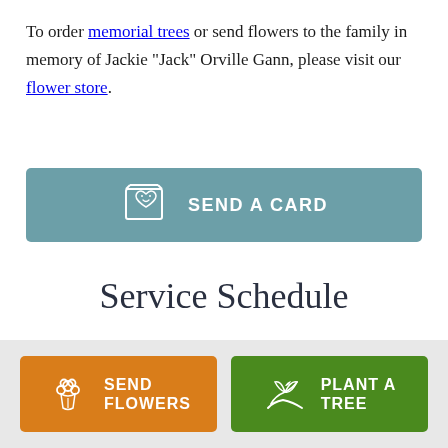To order memorial trees or send flowers to the family in memory of Jackie "Jack" Orville Gann, please visit our flower store.
[Figure (other): Button: Send a Card with greeting card icon]
Service Schedule
[Figure (other): Button: Send Flowers with flower bouquet icon]
[Figure (other): Button: Plant a Tree with plant/hand icon]